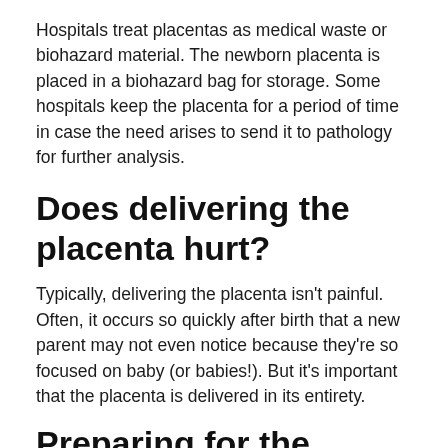Hospitals treat placentas as medical waste or biohazard material. The newborn placenta is placed in a biohazard bag for storage. Some hospitals keep the placenta for a period of time in case the need arises to send it to pathology for further analysis.
Does delivering the placenta hurt?
Typically, delivering the placenta isn't painful. Often, it occurs so quickly after birth that a new parent may not even notice because they're so focused on baby (or babies!). But it's important that the placenta is delivered in its entirety.
Preparing for the placenta...